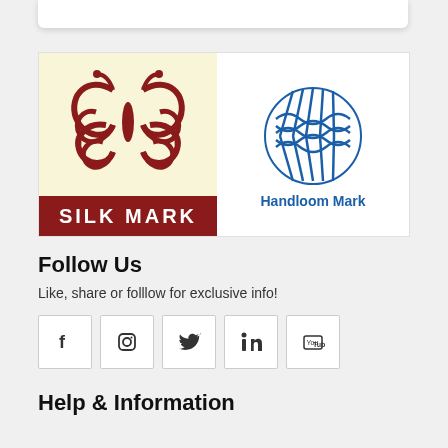[Figure (logo): Silk Mark logo on yellow background with red butterfly/scroll design and red banner reading SILK MARK, next to Handloom Mark logo with blue woven pattern and text Handloom Mark]
Follow Us
Like, share or folllow for exclusive info!
[Figure (infographic): Row of 5 social media icons: Facebook, Instagram, Twitter, LinkedIn, YouTube — each in a bordered square box]
Help & Information